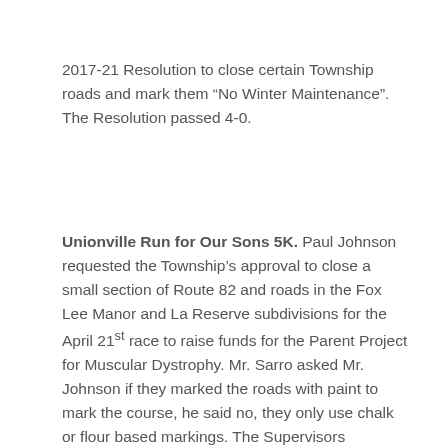2017-21 Resolution to close certain Township roads and mark them “No Winter Maintenance”.  The Resolution passed 4-0.
Unionville Run for Our Sons 5K.  Paul Johnson requested the Township’s approval to close a small section of Route 82 and roads in the Fox Lee Manor and La Reserve subdivisions for the April 21st race to raise funds for the Parent Project for Muscular Dystrophy.  Mr. Sarro asked Mr. Johnson if they marked the roads with paint to mark the course, he said no, they only use chalk or flour based markings.  The Supervisors